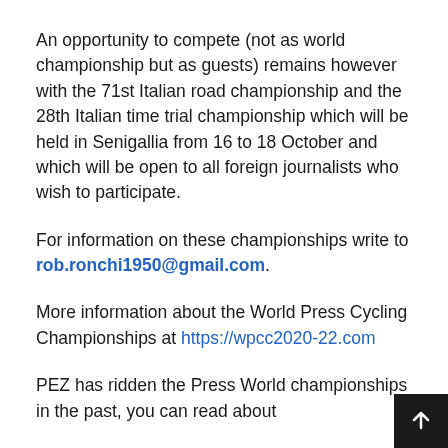An opportunity to compete (not as world championship but as guests) remains however with the 71st Italian road championship and the 28th Italian time trial championship which will be held in Senigallia from 16 to 18 October and which will be open to all foreign journalists who wish to participate.
For information on these championships write to rob.ronchi1950@gmail.com.
More information about the World Press Cycling Championships at https://wpcc2020-22.com
PEZ has ridden the Press World championships in the past, you can read about